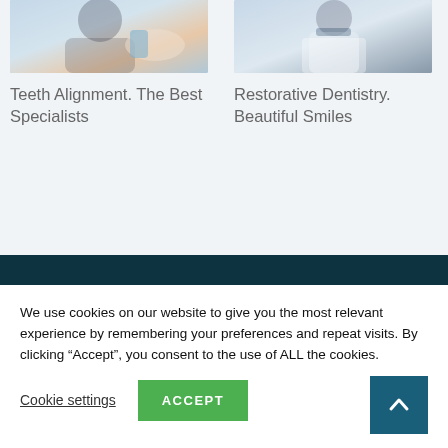[Figure (photo): Dental professional treating a patient, top portion of image visible]
[Figure (photo): Healthcare professional in white coat, top portion of image visible]
Teeth Alignment. The Best Specialists
Restorative Dentistry. Beautiful Smiles
[Figure (logo): Dental clinic logo with green and blue swoosh design on dark teal background]
We use cookies on our website to give you the most relevant experience by remembering your preferences and repeat visits. By clicking “Accept”, you consent to the use of ALL the cookies.
Cookie settings
ACCEPT